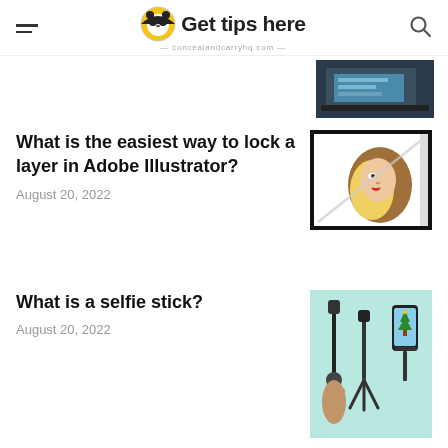Get tips here — concealandcarryhq.com
[Figure (screenshot): Thumbnail image of a laptop/tablet with keyboard, partially visible at top right]
What is the easiest way to lock a layer in Adobe Illustrator?
August 20, 2022
[Figure (illustration): Illustration of a woman with blonde hair in profile view with a diagonal line through the image, Adobe Illustrator layer lock example]
What is a selfie stick?
August 20, 2022
[Figure (photo): Photo of selfie sticks and tripods on a teal/light blue background]